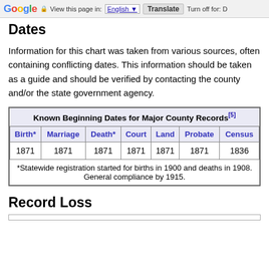Google Translate bar — View this page in: English | Translate | Turn off for: D
Dates
Information for this chart was taken from various sources, often containing conflicting dates. This information should be taken as a guide and should be verified by contacting the county and/or the state government agency.
| Birth* | Marriage | Death* | Court | Land | Probate | Census |
| --- | --- | --- | --- | --- | --- | --- |
| 1871 | 1871 | 1871 | 1871 | 1871 | 1871 | 1836 |
Record Loss